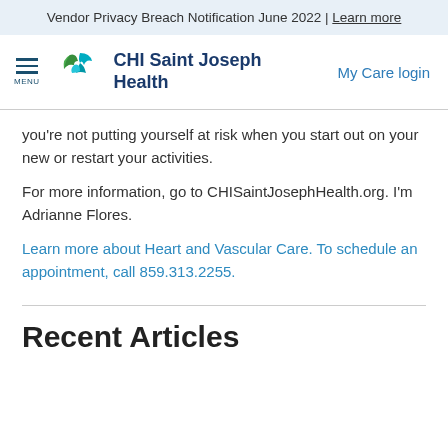Vendor Privacy Breach Notification June 2022 | Learn more
[Figure (logo): CHI Saint Joseph Health logo with green and blue cross/bird icon and dark blue text]
you're not putting yourself at risk when you start out on your new or restart your activities.
For more information, go to CHISaintJosephHealth.org. I'm Adrianne Flores.
Learn more about Heart and Vascular Care. To schedule an appointment, call 859.313.2255.
Recent Articles